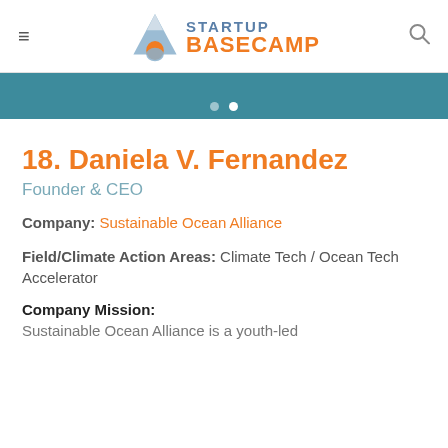STARTUP BASECAMP
18. Daniela V. Fernandez
Founder & CEO
Company: Sustainable Ocean Alliance
Field/Climate Action Areas: Climate Tech / Ocean Tech Accelerator
Company Mission:
Sustainable Ocean Alliance is a youth-led